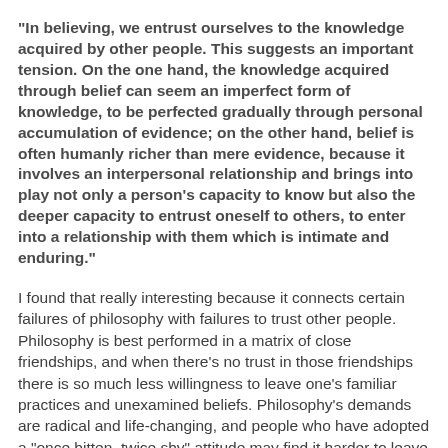"In believing, we entrust ourselves to the knowledge acquired by other people. This suggests an important tension. On the one hand, the knowledge acquired through belief can seem an imperfect form of knowledge, to be perfected gradually through personal accumulation of evidence; on the other hand, belief is often humanly richer than mere evidence, because it involves an interpersonal relationship and brings into play not only a person's capacity to know but also the deeper capacity to entrust oneself to others, to enter into a relationship with them which is intimate and enduring."
I found that really interesting because it connects certain failures of philosophy with failures to trust other people. Philosophy is best performed in a matrix of close friendships, and when there's no trust in those friendships there is so much less willingness to leave one's familiar practices and unexamined beliefs. Philosophy's demands are radical and life-changing, and people who have adopted a "once bitten, twice shy" attitude may find it harder to leave their few